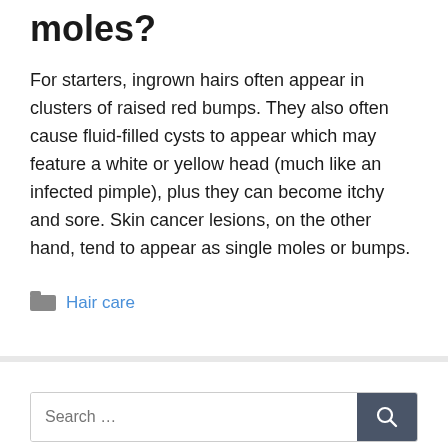moles?
For starters, ingrown hairs often appear in clusters of raised red bumps. They also often cause fluid-filled cysts to appear which may feature a white or yellow head (much like an infected pimple), plus they can become itchy and sore. Skin cancer lesions, on the other hand, tend to appear as single moles or bumps.
Hair care
Search ...